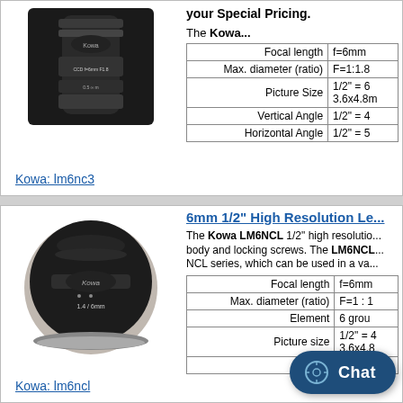[Figure (photo): Kowa lm6nc3 camera lens, black cylindrical lens, close-up photo]
Kowa: lm6nc3
your Special Pricing.
The Kowa...
| Focal length | f=6mm |
| Max. diameter (ratio) | F=1:1.8 |
| Picture Size | 1/2" = 6
3.6x4.8m |
| Vertical Angle | 1/2" = 4 |
| Horizontal Angle | 1/2" = 5 |
[Figure (photo): Kowa LM6NCL camera lens, black circular wide lens, close-up photo, labeled 1.4/6mm]
Kowa: lm6ncl
6mm 1/2" High Resolution Le...
The Kowa LM6NCL 1/2" high resolution body and locking screws. The LM6NCL NCL series, which can be used in a va
| Focal length | f=6mm |
| Max. diameter (ratio) | F=1 : 1 |
| Element | 6 grou |
| Picture size | 1/2" = 4
3.6x4.8 |
|  | 1/2" = 4 |